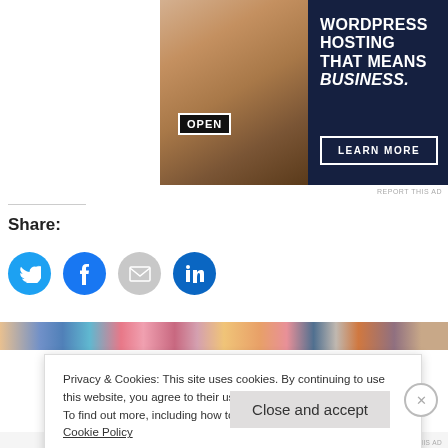[Figure (photo): Advertisement banner for WordPress hosting service. Left side shows a woman holding an OPEN sign, right side has dark navy background with white text 'WORDPRESS HOSTING THAT MEANS BUSINESS.' and a 'LEARN MORE' button.]
REPORT THIS AD
Share:
[Figure (infographic): Four social share icon buttons: Twitter (blue bird), Facebook (blue f), Email (gray envelope), LinkedIn (blue in)]
[Figure (photo): Horizontal strip of small thumbnail images]
Privacy & Cookies: This site uses cookies. By continuing to use this website, you agree to their use.
To find out more, including how to control cookies, see here:
Cookie Policy
Close and accept